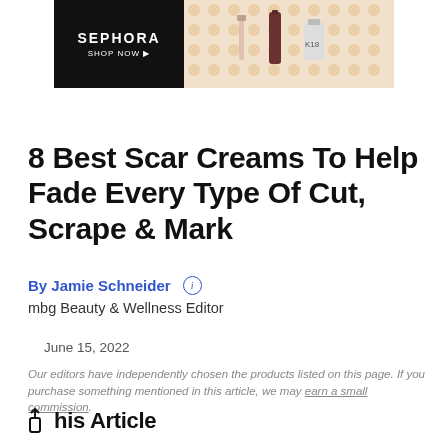[Figure (other): Sephora Shop Now advertisement banner with black left panel showing SEPHORA SHOP NOW text and right panel showing beauty products on a pink/yellow dotted background]
8 Best Scar Creams To Help Fade Every Type Of Cut, Scrape & Mark
By Jamie Schneider ℹ
mbg Beauty & Wellness Editor
June 15, 2022
Our editors have independently chosen the products listed on this page. If you purchase something mentioned in this article, we may earn a small commission.
↑ his Article